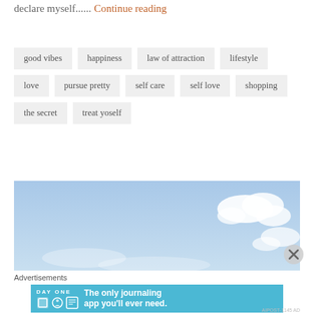declare myself...... Continue reading
good vibes
happiness
law of attraction
lifestyle
love
pursue pretty
self care
self love
shopping
the secret
treat yoself
[Figure (photo): Blue sky with white clouds]
Advertisements
[Figure (screenshot): DAY ONE - The only journaling app you'll ever need. Advertisement banner.]